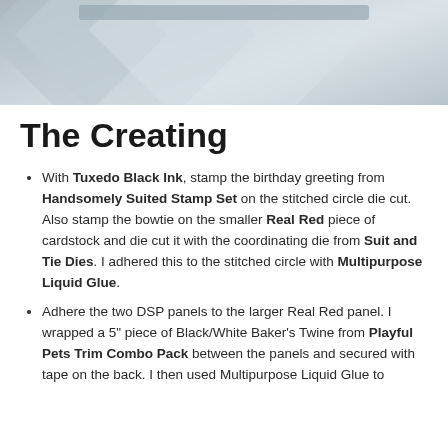[Figure (photo): Photograph or image area showing geometric/diamond shapes in light blue-gray tones, with a browser URL bar visible at top]
The Creating
With Tuxedo Black Ink, stamp the birthday greeting from Handsomely Suited Stamp Set on the stitched circle die cut. Also stamp the bowtie on the smaller Real Red piece of cardstock and die cut it with the coordinating die from Suit and Tie Dies. I adhered this to the stitched circle with Multipurpose Liquid Glue.
Adhere the two DSP panels to the larger Real Red panel. I wrapped a 5" piece of Black/White Baker's Twine from Playful Pets Trim Combo Pack between the panels and secured with tape on the back. I then used Multipurpose Liquid Glue to